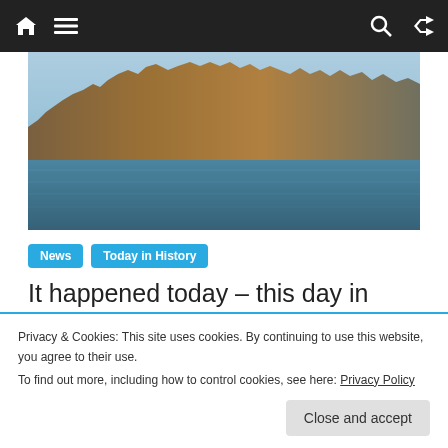Navigation bar with home, menu, search, shuffle icons
[Figure (photo): Coastal cliff/island landscape seen from the sea, rocky terrain with blue water in foreground and clear sky]
News  Today in History
It happened today – this day in history – September 3
Privacy & Cookies: This site uses cookies. By continuing to use this website, you agree to their use.
To find out more, including how to control cookies, see here: Privacy Policy
Close and accept